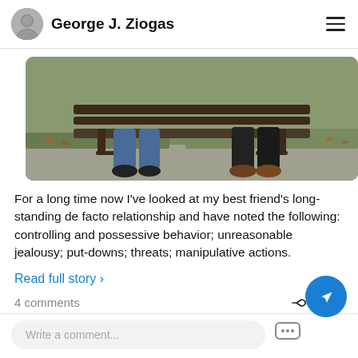George J. Ziogas
[Figure (photo): Two people sitting apart on a park bench, showing only their legs and shoes. Background shows grass and fallen leaves.]
For a long time now I've looked at my best friend's long-standing de facto relationship and have noted the following: controlling and possessive behavior; unreasonable jealousy; put-downs; threats; manipulative actions.
Read full story ›
4 comments
Share
Write a comment...